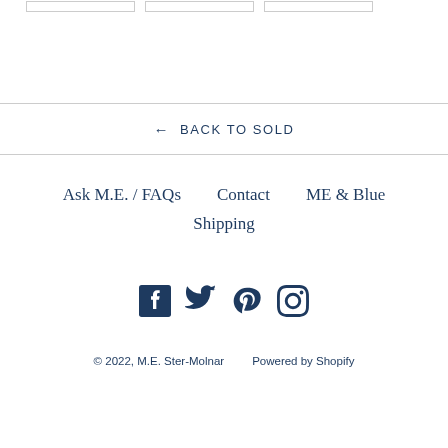[Figure (other): Three small image placeholders (product thumbnails) at top]
← BACK TO SOLD
Ask M.E. / FAQs    Contact    ME & Blue    Shipping
[Figure (other): Social media icons: Facebook, Twitter, Pinterest, Instagram]
© 2022, M.E. Ster-Molnar    Powered by Shopify